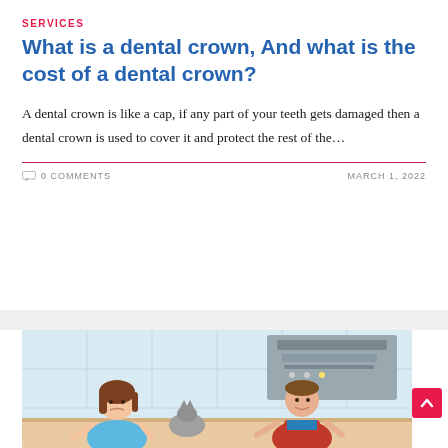SERVICES
What is a dental crown, And what is the cost of a dental crown?
A dental crown is like a cap, if any part of your teeth gets damaged then a dental crown is used to cover it and protect the rest of the…
0 COMMENTS
MARCH 1, 2022
[Figure (illustration): Illustration of two people (a woman with brown hair in blue top and a man in red apron) in a kitchen setting with a range hood]